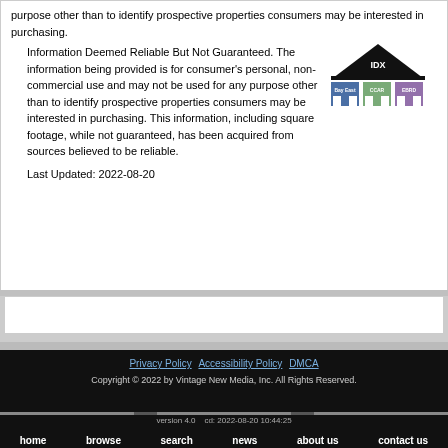purpose other than to identify prospective properties consumers may be interested in purchasing.
[Figure (logo): IDX logo with Bay East, CCAR, and EBRD association logos displayed as colored building icons under an IDX roofline]
Information Deemed Reliable But Not Guaranteed. The information being provided is for consumer's personal, non-commercial use and may not be used for any purpose other than to identify prospective properties consumers may be interested in purchasing. This information, including square footage, while not guaranteed, has been acquired from sources believed to be reliable.
Last Updated: 2022-08-20
Privacy Policy   Accessibility Policy   DMCA
Copyright © 2022 by Vintage New Media, Inc. All Rights Reserved.
version 4.0   cd: 2022-08-20 10:44:25
home   browse   search   news   about us   contact us